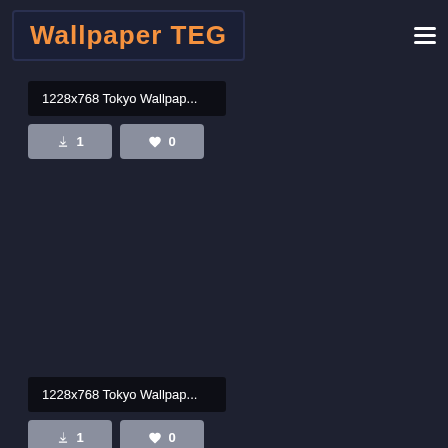Wallpaper TEG
1228x768 Tokyo Wallpap...
1 download, 0 likes
[Figure (screenshot): Dark background placeholder area for a wallpaper image]
1228x768 Tokyo Wallpap...
1 download, 0 likes